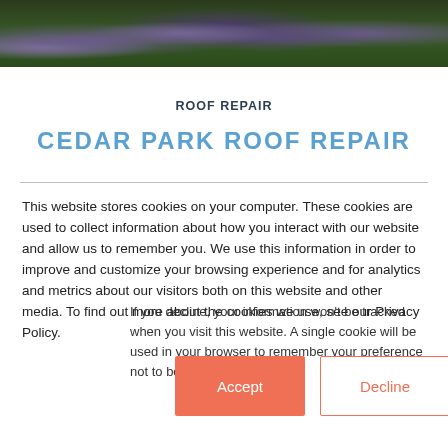[Figure (photo): Banner photo of purple wildflowers (bluebonnets) and green foliage]
ROOF REPAIR
CEDAR PARK ROOF REPAIR
This website stores cookies on your computer. These cookies are used to collect information about how you interact with our website and allow us to remember you. We use this information in order to improve and customize your browsing experience and for analytics and metrics about our visitors both on this website and other media. To find out more about the cookies we use, see our Privacy Policy.
If you decline, your information won't be tracked when you visit this website. A single cookie will be used in your browser to remember your preference not to be tracked.
Accept
Decline